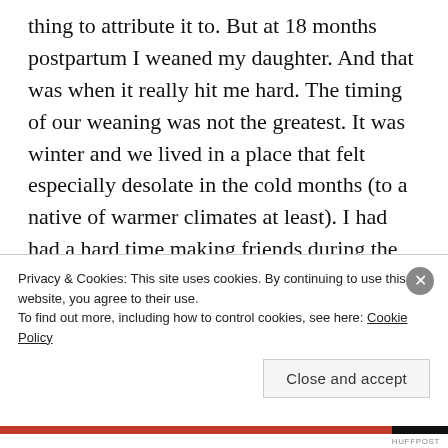thing to attribute it to. But at 18 months postpartum I weaned my daughter. And that was when it really hit me hard. The timing of our weaning was not the greatest. It was winter and we lived in a place that felt especially desolate in the cold months (to a native of warmer climates at least). I had had a hard time making friends during the months we had lived there, and some of the few friends I had made had graduated and moved on. My efforts at reaching out to several moms were rebuffed and I felt defeated, isolated and alone. Surely there was something wrong with me because everybody
Privacy & Cookies: This site uses cookies. By continuing to use this website, you agree to their use.
To find out more, including how to control cookies, see here: Cookie Policy
Close and accept
HUFFPOST